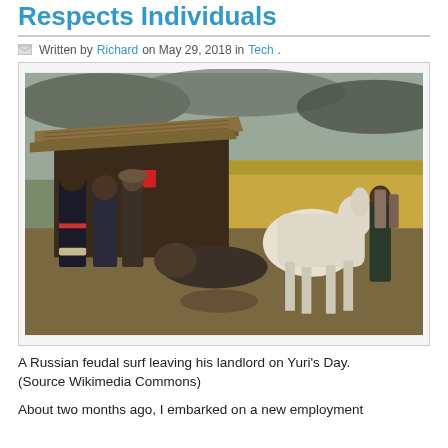Respects Individuals
Written by Richard on May 29, 2018 in Tech.
[Figure (illustration): A Russian feudal painting showing serfs and a white horse near a wooden hut with thatched roof, with fields in the background. Historical artwork depicting Yuri's Day scene.]
A Russian feudal surf leaving his landlord on Yuri's Day. (Source Wikimedia Commons)
About two months ago, I embarked on a new employment